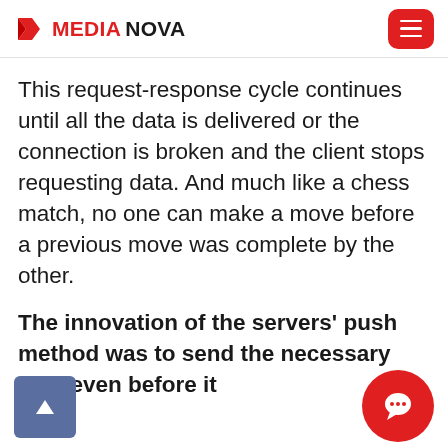MEDIANOVA
This request-response cycle continues until all the data is delivered or the connection is broken and the client stops requesting data. And much like a chess match, no one can make a move before a previous move was complete by the other.
The innovation of the servers' push method was to send the necessary data even before it